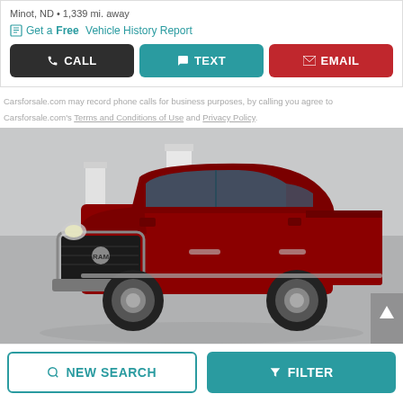Minot, ND • 1,339 mi. away
Get a Free Vehicle History Report
CALL
TEXT
EMAIL
Carsforsale.com may record phone calls for business purposes, by calling you agree to Carsforsale.com's Terms and Conditions of Use and Privacy Policy.
[Figure (photo): Red Ram 1500 pickup truck photographed in a studio setting with white/grey background]
NEW SEARCH
FILTER